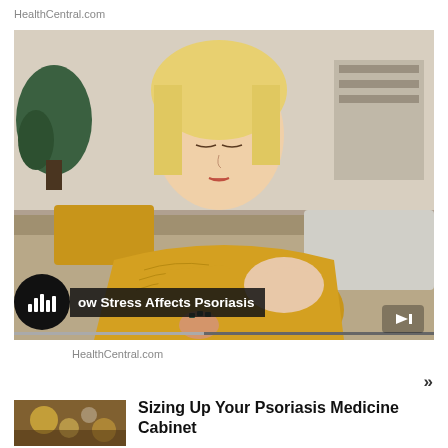HealthCentral.com
[Figure (photo): Woman in yellow/mustard sweater sitting on a couch examining her elbow, related to psoriasis content. Video/podcast player overlay with audio controls and label 'How Stress Affects Psoriasis'. Skip button visible at bottom right of image.]
HealthCentral.com
»
[Figure (photo): Small thumbnail image showing a store/pharmacy aisle with bokeh lights]
Sizing Up Your Psoriasis Medicine Cabinet